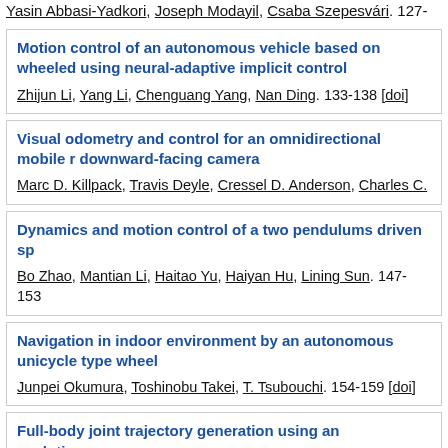Yasin Abbasi-Yadkori, Joseph Modayil, Csaba Szepesvári. 127-
Motion control of an autonomous vehicle based on wheeled using neural-adaptive implicit control
Zhijun Li, Yang Li, Chenguang Yang, Nan Ding. 133-138 [doi]
Visual odometry and control for an omnidirectional mobile r downward-facing camera
Marc D. Killpack, Travis Deyle, Cressel D. Anderson, Charles C.
Dynamics and motion control of a two pendulums driven sp
Bo Zhao, Mantian Li, Haitao Yu, Haiyan Hu, Lining Sun. 147-153
Navigation in indoor environment by an autonomous unicycle type wheel
Junpei Okumura, Toshinobu Takei, T. Tsubouchi. 154-159 [doi]
Full-body joint trajectory generation using an evolutionary o generator for stable bipedal walking